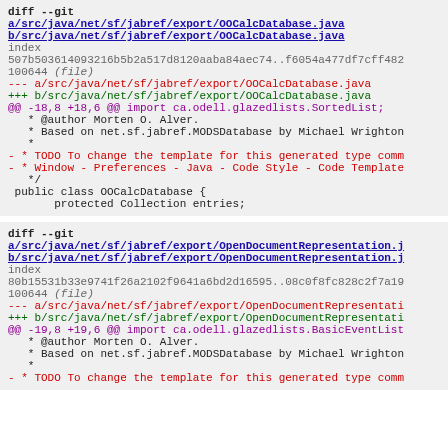diff --git a/src/java/net/sf/jabref/export/OOCalcDatabase.java b/src/java/net/sf/jabref/export/OOCalcDatabase.java
index 507b503614093216b5b2a517d8120aaba84aec74..f6054a477df7cff482
100644 (file)
--- a/src/java/net/sf/jabref/export/OOCalcDatabase.java
+++ b/src/java/net/sf/jabref/export/OOCalcDatabase.java
@@ -18,8 +18,6 @@ import ca.odell.glazedlists.SortedList;
   * @author Morten O. Alver.
   * Based on net.sf.jabref.MODSDatabase by Michael Wrighton
   *
 - * TODO To change the template for this generated type comm
 - * Window - Preferences - Java - Code Style - Code Template
   */
 public class OOCalcDatabase {
       protected Collection entries;
diff --git a/src/java/net/sf/jabref/export/OpenDocumentRepresentation.j b/src/java/net/sf/jabref/export/OpenDocumentRepresentation.j
index 80b15531b33e9741f26a2102f9641a6bd2d16595..08c0f8fc828c2f7a19
100644 (file)
--- a/src/java/net/sf/jabref/export/OpenDocumentRepresentati
+++ b/src/java/net/sf/jabref/export/OpenDocumentRepresentati
@@ -19,8 +19,6 @@ import ca.odell.glazedlists.BasicEventList
   * @author Morten O. Alver.
   * Based on net.sf.jabref.MODSDatabase by Michael Wrighton
   *
- * TODO To change the template for this generated type comm